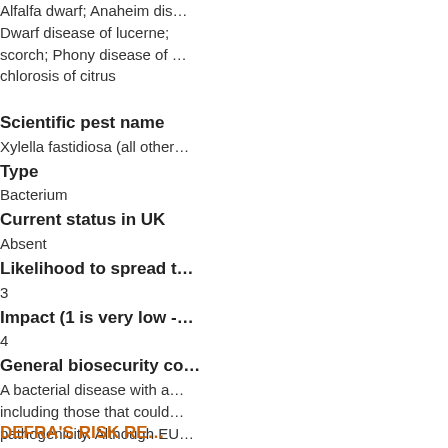Alfalfa dwarf; Anaheim disease; Dwarf disease of lucerne; scorch; Phony disease of chlorosis of citrus
Scientific pest name
Xylella fastidiosa (all other...
Type
Bacterium
Current status in UK
Absent
Likelihood to spread t...
3
Impact (1 is very low -...
4
General biosecurity co...
A bacterial disease with a... including those that could... pathogenicity. Although EU... introduction. Should an ou... action which would result i...
DEFRA'S RISK RE...